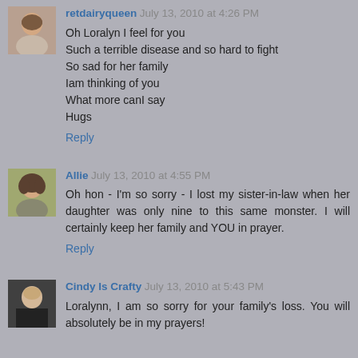[Figure (photo): Avatar photo of retdairyqueen, older woman]
retdairyqueen July 13, 2010 at 4:26 PM
Oh Loralyn I feel for you
Such a terrible disease and so hard to fight
So sad for her family
Iam thinking of you
What more canI say
Hugs
Reply
[Figure (photo): Avatar photo of Allie, woman with curly hair]
Allie July 13, 2010 at 4:55 PM
Oh hon - I'm so sorry - I lost my sister-in-law when her daughter was only nine to this same monster. I will certainly keep her family and YOU in prayer.
Reply
[Figure (photo): Avatar photo of Cindy Is Crafty, woman in dark clothing]
Cindy Is Crafty July 13, 2010 at 5:43 PM
Loralynn, I am so sorry for your family's loss. You will absolutely be in my prayers!